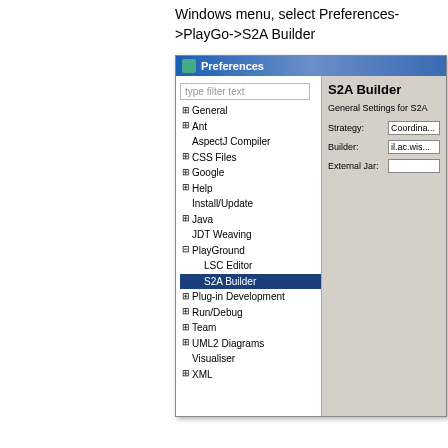Windows menu, select Preferences->PlayGo->S2A Builder
[Figure (screenshot): Eclipse Preferences dialog showing the tree navigation on the left with PlayGround expanded and S2A Builder selected (highlighted in blue), and the right panel showing S2A Builder settings with Strategy, Builder, and External Jar fields.]